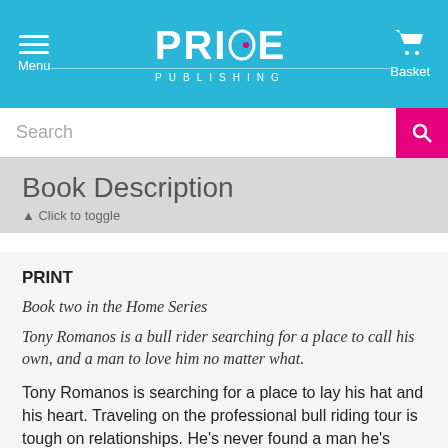PRIDE PUBLISHING — Menu | Basket
Book Description — Click to toggle
PRINT
Book two in the Home Series
Tony Romanos is a bull rider searching for a place to call his own, and a man to love him no matter what.
Tony Romanos is searching for a place to lay his hat and his heart. Traveling on the professional bull riding tour is tough on relationships. He's never found a man he's willing to settle down for, or even a home he's able to call his own.
Brody MacCafferty owns a bodyguard company which has a few perks. Being in Hawaii and picking up a handsome cowboy for a hot one-night stand is one of them. Brody doesn't expect to see the gorgeous man again.